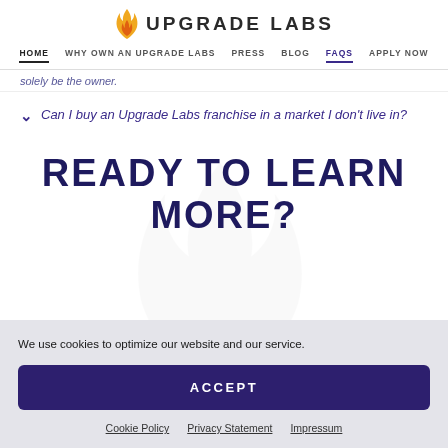Upgrade Labs — HOME | WHY OWN AN UPGRADE LABS | PRESS | BLOG | FAQS | APPLY NOW
solely be the owner.
Can I buy an Upgrade Labs franchise in a market I don't live in?
READY TO LEARN MORE?
We use cookies to optimize our website and our service.
ACCEPT
Cookie Policy   Privacy Statement   Impressum